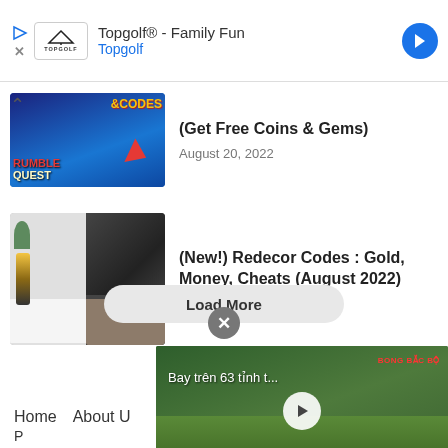[Figure (screenshot): Ad banner for Topgolf: Family Fun. Shows Topgolf logo, play/close icons, and blue navigation arrow icon.]
[Figure (screenshot): Thumbnail for Rumble Quest codes article - game art with coins and codes text]
(Get Free Coins & Gems)
August 20, 2022
[Figure (screenshot): Thumbnail for Redecor Codes article - interior design room images in black and white]
(New!) Redecor Codes : Gold, Money, Cheats (August 2022)
August 19, 2022
Load More
[Figure (screenshot): Video panel showing aerial footage of a Vietnamese city with text 'Bay tren 63 tinh t...' and watermark 'PHU THO'. Red label 'BONG BAC BO' visible at top right.]
Home
About U